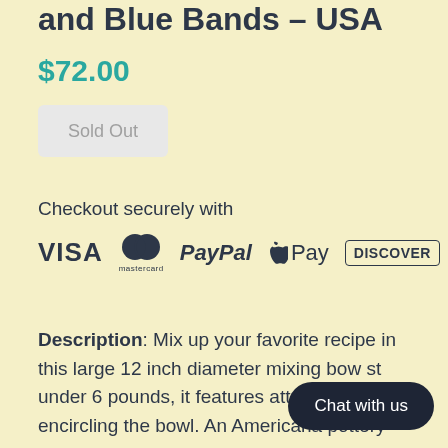and Blue Bands - USA
$72.00
Sold Out
Checkout securely with
[Figure (logo): Payment method logos: VISA, Mastercard, PayPal, Apple Pay, Discover]
Description:  Mix up your favorite recipe in this large 12 inch diameter mixing bow     st under 6 pounds, it features attrac      ue bands encircling the bowl.  An Americana pottery
Chat with us